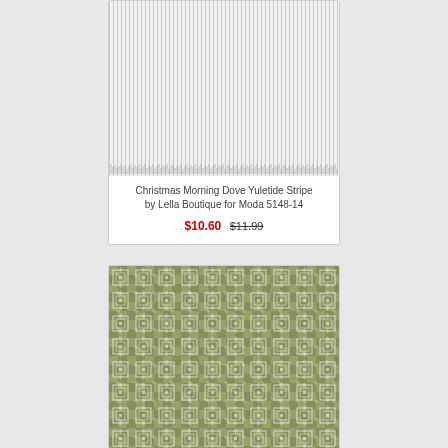[Figure (photo): Fabric swatch showing Christmas Morning Dove Yuletide Stripe pattern — vertical grey and white stripes with fringe edge at bottom]
Christmas Morning Dove Yuletide Stripe by Lella Boutique for Moda 5148-14
$10.60 $11.99
[Figure (photo): Fabric swatch showing a green geometric pattern with repeating squares and diamond shapes in sage/olive tones]